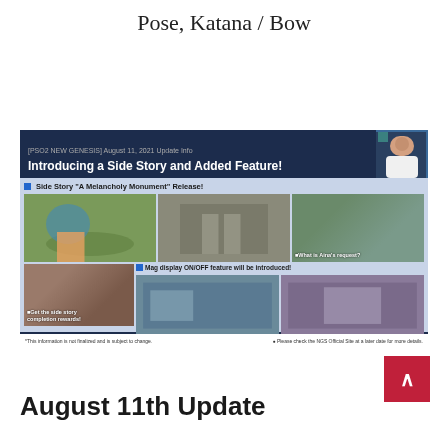Pose, Katana / Bow
[Figure (screenshot): Screenshot of a PSO2 NEW GENESIS August 11, 2021 Update Info stream slide titled 'Introducing a Side Story and Added Feature!' showing gameplay images of a Side Story 'A Melancholy Monument' Release and Mag display ON/OFF feature, with a presenter visible in the upper right corner.]
August 11th Update